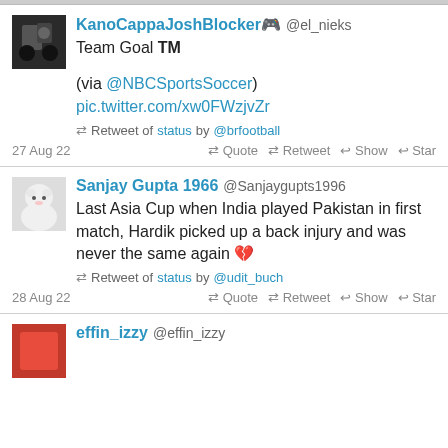KanoCappaJoshBlocker🎮 @el_nieks
Team Goal TM

(via @NBCSportsSoccer)
pic.twitter.com/xw0FWzjvZr
🔁 Retweet of status by @brfootball
27 Aug 22   🔁 Quote 🔁 Retweet ↩ Show ↩ Star
Sanjay Gupta 1966 @Sanjaygupts1996
Last Asia Cup when India played Pakistan in first match, Hardik picked up a back injury and was never the same again 💔
🔁 Retweet of status by @udit_buch
28 Aug 22   🔁 Quote 🔁 Retweet ↩ Show ↩ Star
effin_izzy @effin_izzy